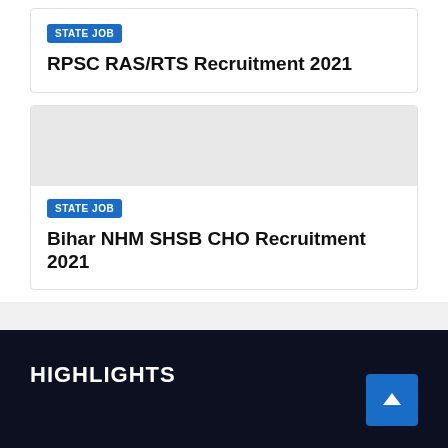STATE JOB
RPSC RAS/RTS Recruitment 2021
STATE JOB
Bihar NHM SHSB CHO Recruitment 2021
HIGHLIGHTS